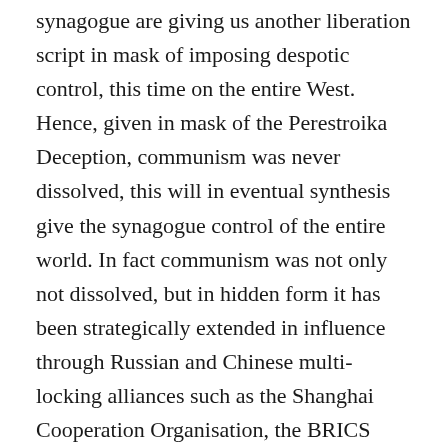synagogue are giving us another liberation script in mask of imposing despotic control, this time on the entire West. Hence, given in mask of the Perestroika Deception, communism was never dissolved, this will in eventual synthesis give the synagogue control of the entire world. In fact communism was not only not dissolved, but in hidden form it has been strategically extended in influence through Russian and Chinese multi-locking alliances such as the Shanghai Cooperation Organisation, the BRICS nations (linking to the Union of S. American nations), the China-South Asia Cooperation Forum, the Forum on China–Africa Cooperation and the Chinese New Belt Road initiatives. In influence in Central American, El Salvador, Costa Rica, Panama and the Dominican Republic even officially recognise Taiwan as part of China. Hence the West is virtually surrounded and all this to plan. As Stalin said in 1939: “The withering away of the state, the precondition for the